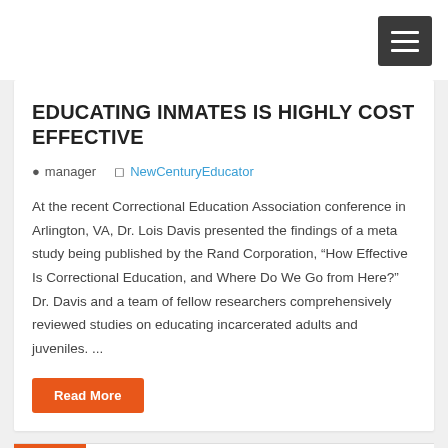[Figure (other): Dark grey hamburger menu button with three horizontal white lines, positioned in top-right corner of page]
EDUCATING INMATES IS HIGHLY COST EFFECTIVE
manager   NewCenturyEducator
At the recent Correctional Education Association conference in Arlington, VA, Dr. Lois Davis presented the findings of a meta study being published by the Rand Corporation, “How Effective Is Correctional Education, and Where Do We Go from Here?”  Dr. Davis and a team of fellow researchers comprehensively reviewed studies on educating incarcerated adults and juveniles. ...
Read More
28